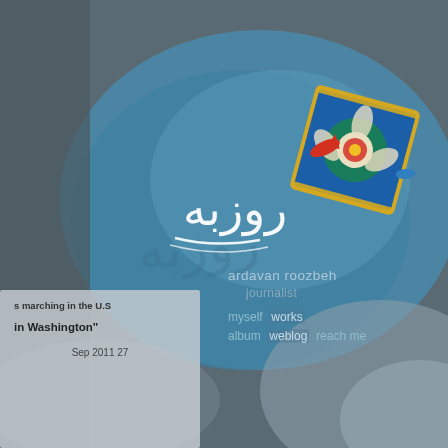[Figure (screenshot): Website header/splash page for journalist Ardavan Roozbeh. Blue watercolor background with Persian calligraphy logo text in white, a decorative blue Persian tile artwork, a small red fish illustration. Navigation menu shows: myself, works, album, weblog, reach me. Name: ardavan roozbeh, occupation: journalist.]
s marching in the U.S
in Washington"
Sep 2011 27